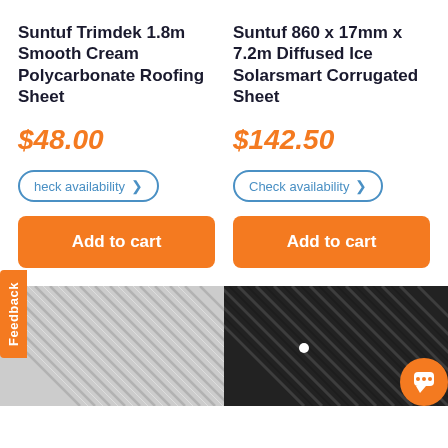Suntuf Trimdek 1.8m Smooth Cream Polycarbonate Roofing Sheet
$48.00
Check availability >
Add to cart
Suntuf 860 x 17mm x 7.2m Diffused Ice Solarsmart Corrugated Sheet
$142.50
Check availability >
Add to cart
[Figure (photo): Close-up of grey corrugated polycarbonate roofing sheet at an angle]
[Figure (photo): Close-up of dark/black corrugated sheet with a white dot marker visible, and an orange chat button in the corner]